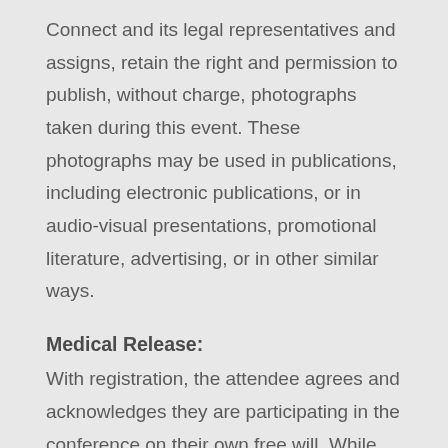Connect and its legal representatives and assigns, retain the right and permission to publish, without charge, photographs taken during this event. These photographs may be used in publications, including electronic publications, or in audio-visual presentations, promotional literature, advertising, or in other similar ways.
Medical Release:
With registration, the attendee agrees and acknowledges they are participating in the conference on their own free will. While Connect does its best to provide the safest possible environment for the events, the